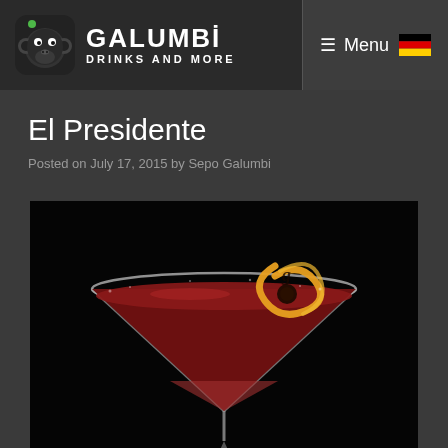GALUMBI DRINKS AND MORE — Menu
El Presidente
Posted on July 17, 2015 by Sepo Galumbi
[Figure (photo): A dark cocktail in a martini glass garnished with an orange/yellow citrus peel twist, set against a black background. The drink appears deep red/burgundy in color. The Galumbi logo 'g' is visible on the garnish/glass area.]